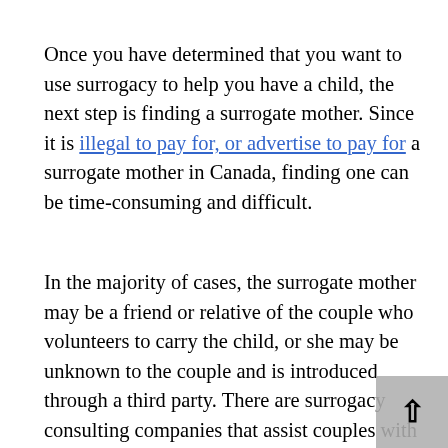Once you have determined that you want to use surrogacy to help you have a child, the next step is finding a surrogate mother. Since it is illegal to pay for, or advertise to pay for a surrogate mother in Canada, finding one can be time-consuming and difficult.
In the majority of cases, the surrogate mother may be a friend or relative of the couple who volunteers to carry the child, or she may be unknown to the couple and is introduced through a third party. There are surrogacy consulting companies that assist couples with finding a surrogate, including Surrogacy in Canada Online and Proud Fertility.
Intended parents should be aware that the law states that no one shall advertise the payment of, offer to pay, pay or accept consideration for the arrangement of services for a surrogate mother.